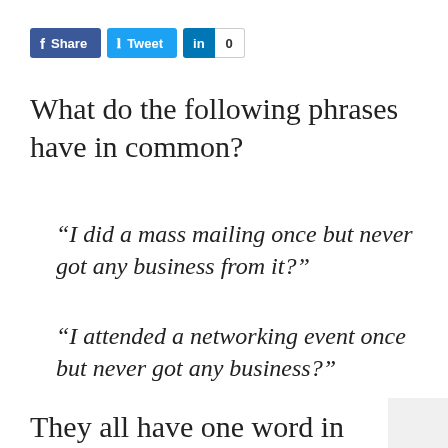[Figure (other): Social sharing buttons: Facebook Share button (dark blue), Twitter Tweet button (light blue), LinkedIn in button with count showing 0]
What do the following phrases have in common?
“I did a mass mailing once but never got any business from it?”
“I attended a networking event once but never got any business?”
They all have one word in common: